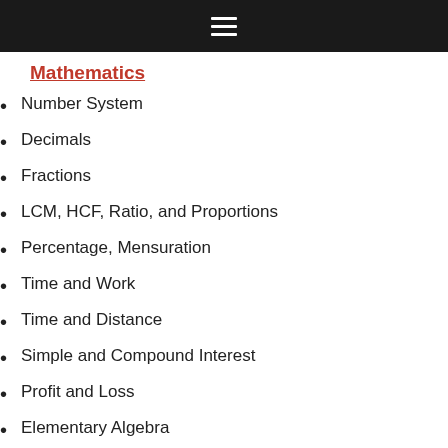≡
Mathematics
Number System
Decimals
Fractions
LCM, HCF, Ratio, and Proportions
Percentage, Mensuration
Time and Work
Time and Distance
Simple and Compound Interest
Profit and Loss
Elementary Algebra
Geometry and Trigonometry
Elementary Statistics